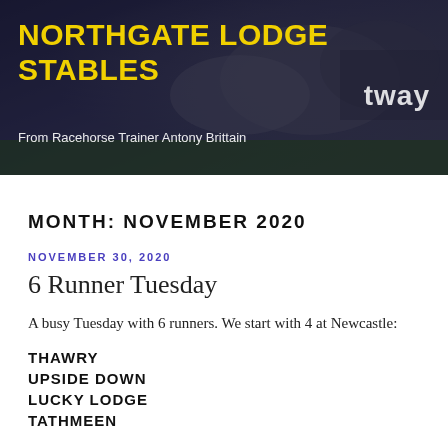[Figure (photo): Header banner image of racehorses and jockeys racing, with 'NORTHGATE LODGE STABLES' title in yellow and subtitle 'From Racehorse Trainer Antony Brittain' in white, dark background with betway branding visible]
MONTH: NOVEMBER 2020
NOVEMBER 30, 2020
6 Runner Tuesday
A busy Tuesday with 6 runners. We start with 4 at Newcastle:
THAWRY
UPSIDE DOWN
LUCKY LODGE
TATHMEEN